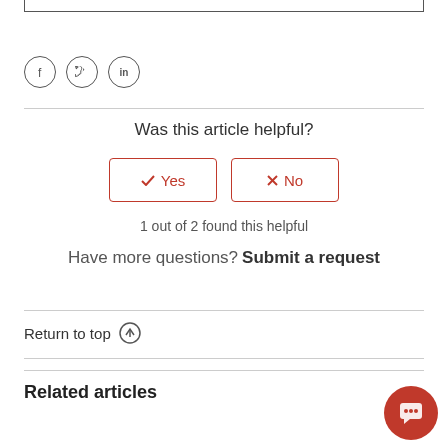[Figure (other): Top border of a content box (bottom portion visible)]
[Figure (other): Social media icons: Facebook, Twitter, LinkedIn — circular outlined icons]
Was this article helpful?
[Figure (other): Yes and No buttons with red borders and checkmark/X icons]
1 out of 2 found this helpful
Have more questions? Submit a request
Return to top ↑
Related articles
[Figure (other): Chat/support bubble button in bottom-right corner, red circular icon]